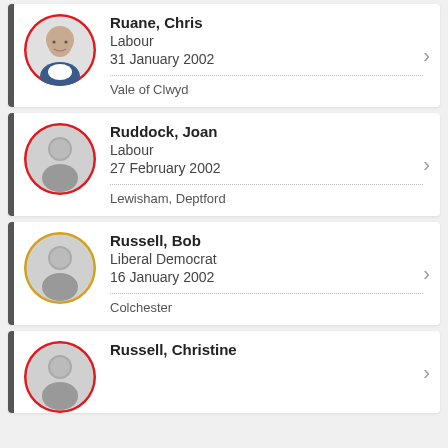Ruane, Chris | Labour | 31 January 2002 | Vale of Clwyd
Ruddock, Joan | Labour | 27 February 2002 | Lewisham, Deptford
Russell, Bob | Liberal Democrat | 16 January 2002 | Colchester
Russell, Christine